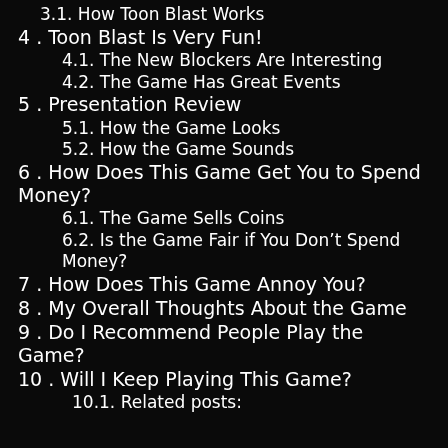3.1. How Toon Blast Works
4. Toon Blast Is Very Fun!
4.1. The New Blockers Are Interesting
4.2. The Game Has Great Events
5. Presentation Review
5.1. How the Game Looks
5.2. How the Game Sounds
6. How Does This Game Get You to Spend Money?
6.1. The Game Sells Coins
6.2. Is the Game Fair if You Don’t Spend Money?
7. How Does This Game Annoy You?
8. My Overall Thoughts About the Game
9. Do I Recommend People Play the Game?
10. Will I Keep Playing This Game?
10.1. Related posts: